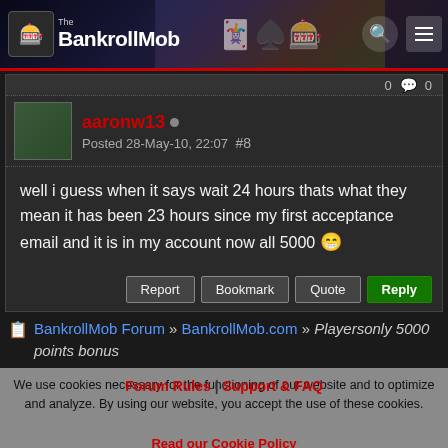The BankrollMob
aaronw13 - Posted 28-May-10, 22:07 #8 - well i guess when it says wait 24 hours thats what they mean it has been 23 hours since my first acceptance email and it is in my account now all 5000
BankrollMob Forum » BankrollMob.com » Playersonly 5000 points bonus
We use cookies necessary for the functioning of our website and to optimize and analyze. By using our website, you accept the use of these cookies. Forum Rules | Support & FAQ - Read our Cookie Policy
Disclosure: BankrollMob may earn a commission based on the advertisement material on this site. #AD
© 2022 BankrollMob.com - All Rights Reserved | CONTACT | ABOUT | PRIVACY & COOKIE POLICY | TERMS & CONDITIONS | NEWSLETTER | AFFILIATES | REPORT SPAM | ADVERTISING